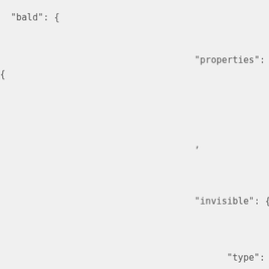"bald": {


                              "properties":
{




                              ,



                              "invisible": {



                                    "type": "boolean"

}

                              "hairColor": {

,

                                    "items": {